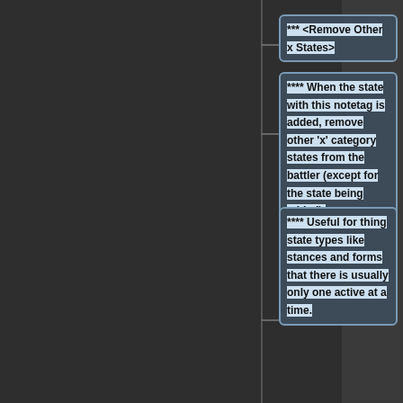*** <Remove Other x States>
**** When the state with this notetag is added, remove other 'x' category states from the battler (except for the state being added).
**** Useful for thing state types like stances and forms that there is usually only one active at a time.